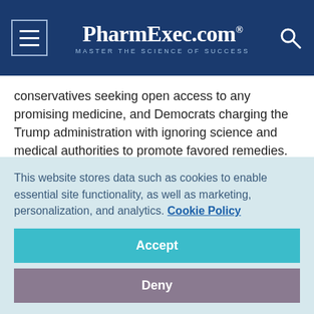PharmExec.com® MASTER THE SCIENCE OF SUCCESS
conservatives seeking open access to any promising medicine, and Democrats charging the Trump administration with ignoring science and medical authorities to promote favored remedies.
Now FDA has revoked its Emergency Use Authorization (EUA) for these medicines, citing new evidence and reanalysis of earlier data confirming that the drugs show no evidence of effectiveness against the coronavirus and raise continued
This website stores data such as cookies to enable essential site functionality, as well as marketing, personalization, and analytics. Cookie Policy
Accept
Deny